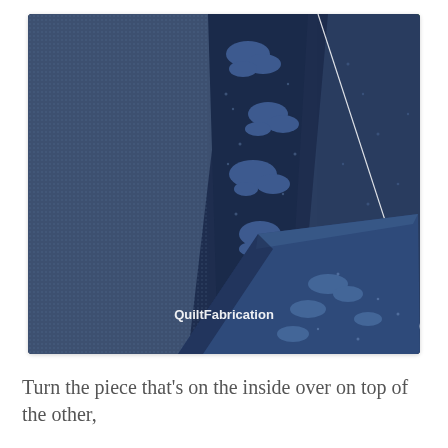[Figure (photo): Close-up photograph of blue quilting fabric pieces layered and folded on a cutting mat. Multiple shades of navy and slate blue fabric are shown, including a patterned piece with a floral/cloud design in lighter blue on dark blue background. A white line (possibly a seam line or chalk mark) is visible diagonally on the fabric. The corner of a green cutting mat is visible in the top right. The watermark 'QuiltFabrication' appears in white text in the lower portion of the image.]
Turn the piece that's on the inside over on top of the other,